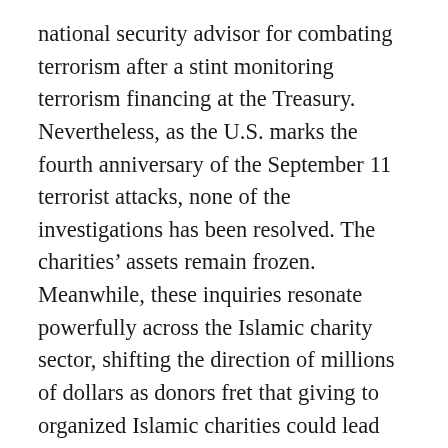national security advisor for combating terrorism after a stint monitoring terrorism financing at the Treasury. Nevertheless, as the U.S. marks the fourth anniversary of the September 11 terrorist attacks, none of the investigations has been resolved. The charities’ assets remain frozen. Meanwhile, these inquiries resonate powerfully across the Islamic charity sector, shifting the direction of millions of dollars as donors fret that giving to organized Islamic charities could lead them into a legal morass. Muslim Americans are now looking for methods beyond traditional charitable giving to fulfill Zakat, a pillar of Islam, which requires Muslims to give 2.5% of their income to the poor. More Muslim